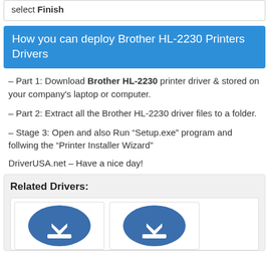select Finish
How you can deploy Brother HL-2230 Printers Drivers
– Part 1: Download Brother HL-2230 printer driver & stored on your company's laptop or computer.
– Part 2: Extract all the Brother HL-2230 driver files to a folder.
– Stage 3: Open and also Run “Setup.exe” program and follwing the “Printer Installer Wizard”
DriverUSA.net – Have a nice day!
Related Drivers:
[Figure (illustration): Two blue circular download icons with white downward arrows and a horizontal bar, shown side by side in a white card.]